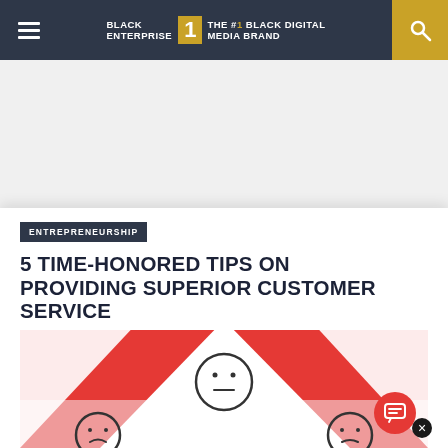BLACK ENTERPRISE THE #1 BLACK DIGITAL MEDIA BRAND
ENTREPRENEURSHIP
5 TIME-HONORED TIPS ON PROVIDING SUPERIOR CUSTOMER SERVICE
[Figure (illustration): Red and white circular/pie-chart style infographic with smiley face icons showing different customer satisfaction expressions — one neutral face in the center-top area and two more partially visible faces at the bottom left and bottom right. Red background with white wedge shapes.]